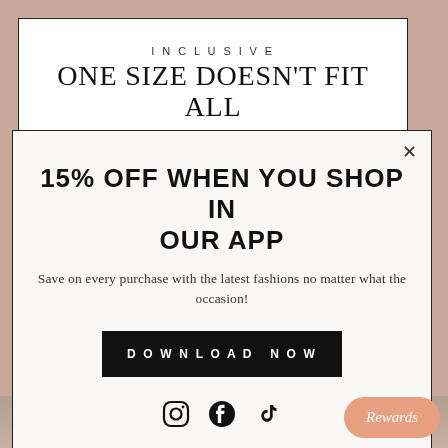INCLUSIVE
ONE SIZE DOESN'T FIT ALL
Celebrate your curves, your flaws, and love
15% OFF WHEN YOU SHOP IN OUR APP
Save on every purchase with the latest fashions no matter what the occasion!
DOWNLOAD NOW
[Figure (logo): Instagram, Facebook, and TikTok social media icons]
Rewards